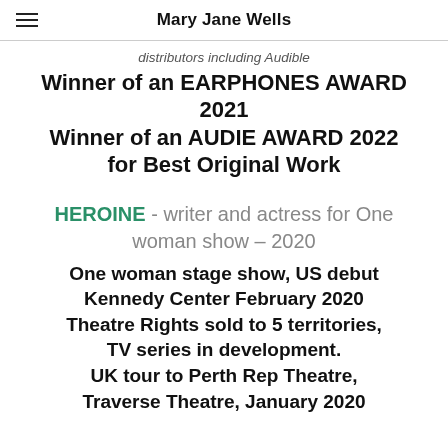Mary Jane Wells
distributors including Audible
Winner of an EARPHONES AWARD 2021
Winner of an AUDIE AWARD 2022 for Best Original Work
HEROINE - writer and actress for One woman show – 2020
One woman stage show, US debut Kennedy Center February 2020 Theatre Rights sold to 5 territories, TV series in development. UK tour to Perth Rep Theatre, Traverse Theatre, January 2020